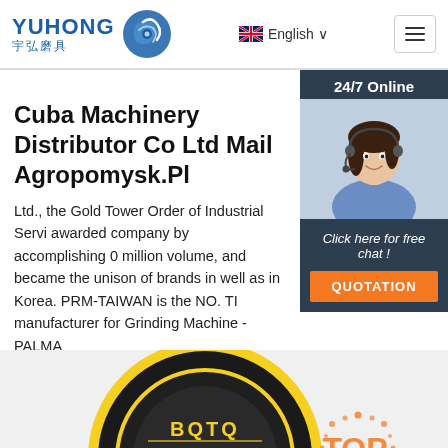YUHONG 宇弘磨具 | English | Navigation
Cuba Machinery Distributor Co Ltd Mail Agropomysk.Pl
Ltd., the Gold Tower Order of Industrial Servi awarded company by accomplishing 0 million volume, and became the unison of brands in well as in Korea. PRM-TAIWAN is the NO. TI manufacturer for Grinding Machine - PALMA
Get Price
[Figure (photo): Woman with headset smiling, customer service representative, with '24/7 Online' header and 'Click here for free chat!' and 'QUOTATION' button below]
[Figure (photo): BQTQ grinding disc / cutting wheel, 4-1/2 inch, MAX 13,300 RPM, black and yellow design, with TOP logo watermark in orange]